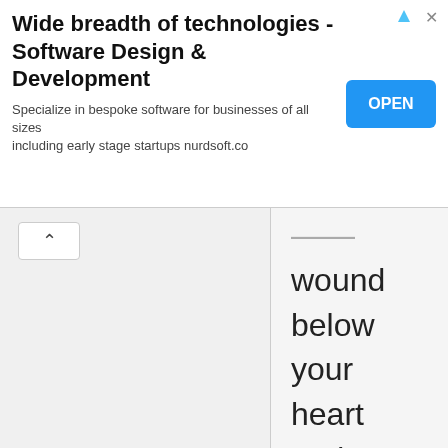[Figure (other): Advertisement banner: 'Wide breadth of technologies - Software Design & Development' with 'OPEN' button and subtitle 'Specialize in bespoke software for businesses of all sizes including early stage startups nurdsoft.co']
wound
below
your
heart
and
slowly
begin
to
move
toward
medical
attention.